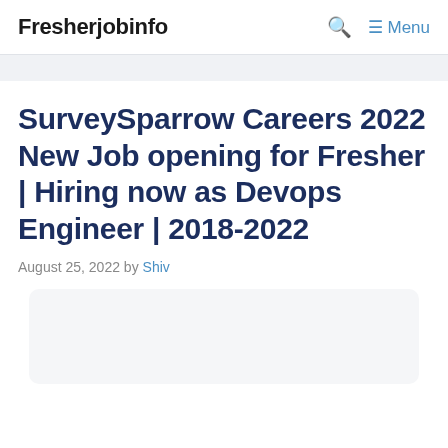Fresherjobinfo  🔍  ≡ Menu
SurveySparrow Careers 2022 New Job opening for Fresher | Hiring now as Devops Engineer | 2018-2022
August 25, 2022 by Shiv
[Figure (other): Empty/placeholder content box with rounded corners and light gray background]